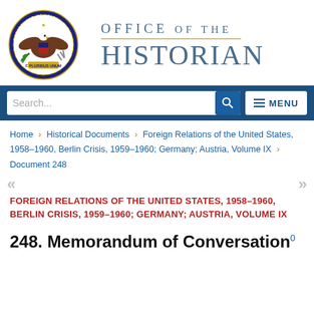[Figure (logo): Department of State seal / eagle emblem on left, 'Office of the Historian' text on right]
OFFICE OF THE HISTORIAN
Search... [search box] [MENU]
Home › Historical Documents › Foreign Relations of the United States, 1958–1960, Berlin Crisis, 1959–1960; Germany; Austria, Volume IX › Document 248
FOREIGN RELATIONS OF THE UNITED STATES, 1958–1960, BERLIN CRISIS, 1959–1960; GERMANY; AUSTRIA, VOLUME IX
248. Memorandum of Conversation⁰